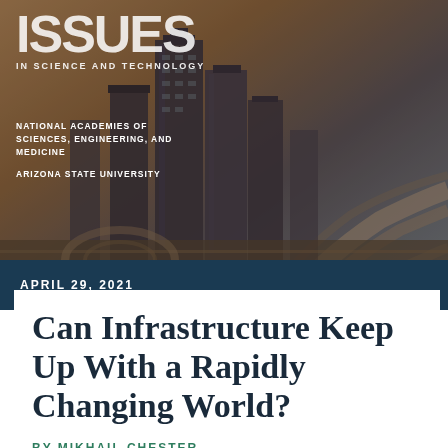[Figure (photo): Aerial view of city skyline with skyscrapers and highway interchange, brownish-sepia tinted]
ISSUES IN SCIENCE AND TECHNOLOGY
NATIONAL ACADEMIES OF SCIENCES, ENGINEERING, AND MEDICINE
ARIZONA STATE UNIVERSITY
APRIL 29, 2021
Can Infrastructure Keep Up With a Rapidly Changing World?
BY MIKHAIL CHESTER